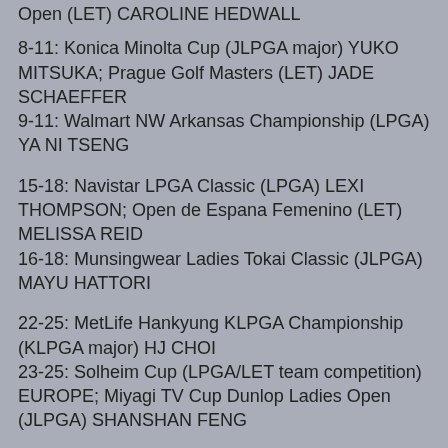Open (LET) CAROLINE HEDWALL
8-11: Konica Minolta Cup (JLPGA major) YUKO MITSUKA; Prague Golf Masters (LET) JADE SCHAEFFER
9-11: Walmart NW Arkansas Championship (LPGA) YA NI TSENG
15-18: Navistar LPGA Classic (LPGA) LEXI THOMPSON; Open de Espana Femenino (LET) MELISSA REID
16-18: Munsingwear Ladies Tokai Classic (JLPGA) MAYU HATTORI
22-25: MetLife Hankyung KLPGA Championship (KLPGA major) HJ CHOI
23-25: Solheim Cup (LPGA/LET team competition) EUROPE; Miyagi TV Cup Dunlop Ladies Open (JLPGA) SHANSHAN FENG
27-30: Stage 2 (LPGA Q-School) GINGER HOWARD
29-10/2: Japan Women's Open (JLPGA major) YUKARI BABA; Lacoste Open de France Feminin (LET) FELICITY JOHNSON